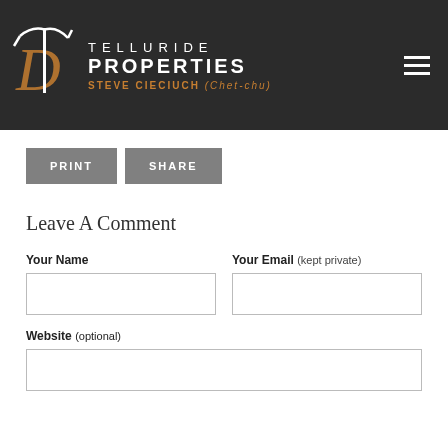[Figure (logo): Telluride Properties logo with pickaxe icon, white text TELLURIDE PROPERTIES, and orange text STEVE CIECIUCH (Chet-chu) on dark background]
PRINT
SHARE
Leave A Comment
Your Name
Your Email (kept private)
Website (optional)